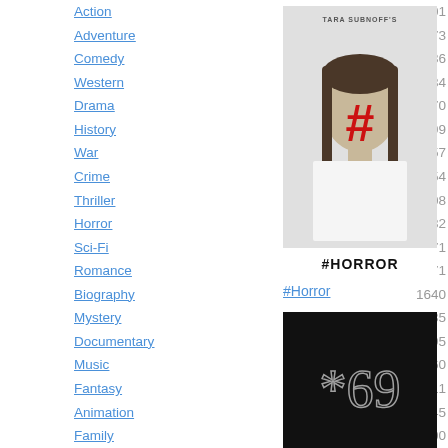| Genre | Count |
| --- | --- |
| Action | 6101 |
| Adventure | 3873 |
| Comedy | 11836 |
| Western | 884 |
| Drama | 17470 |
| History | 1299 |
| War | 1357 |
| Crime | 4554 |
| Thriller | 9108 |
| Horror | 6182 |
| Sci-Fi | 3271 |
| Romance | 5771 |
| Biography | 1640 |
| Mystery | 2935 |
| Documentary | 3695 |
| Music | 1460 |
| Fantasy | 2711 |
| Animation | 2345 |
| Family | 3500 |
| Sport | 962 |
| Musical | 960 |
| Film-Noir | 215 |
| Short | 1349 |
| Game-Show | 7 |
| Reality-TV | 117 |
[Figure (photo): #Horror movie poster showing a woman with a red hashtag symbol on her face, with text 'TARA SUBNOFF'S' at top and '#HORROR' at bottom]
#Horror
[Figure (photo): Dark movie poster with '*69' text on black background]